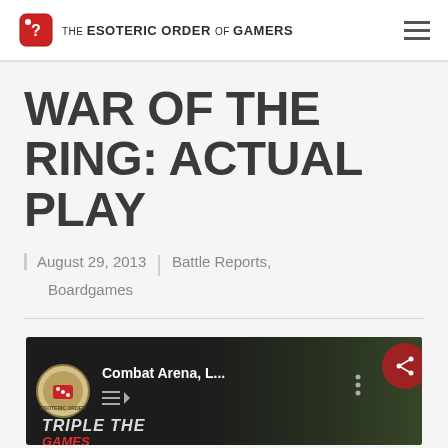THE ESOTERIC ORDER OF GAMERS
WAR OF THE RING: ACTUAL PLAY
August 29, 2013 | Battle Reports, Boardgames
[Figure (screenshot): Video thumbnail showing Combat Arena game with circular logo badge, title text 'Combat Arena, L...' and playlist/menu icons. A share button appears on the right side.]